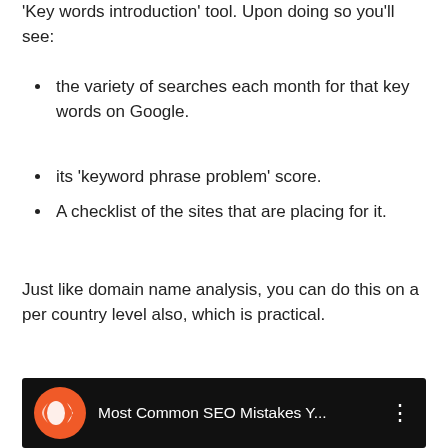'Key words introduction' tool. Upon doing so you'll see:
the variety of searches each month for that key words on Google.
its 'keyword phrase problem' score.
A checklist of the sites that are placing for it.
Just like domain name analysis, you can do this on a per country level also, which is practical.
[Figure (screenshot): Video thumbnail showing 'Most Common SEO Mistakes Y...' with an orange streaming icon on black background and a three-dot menu icon]